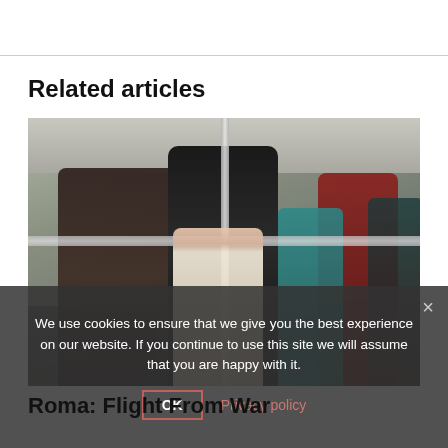Related articles
[Figure (photo): People standing and sitting inside a bus, including a woman in a black jacket and a young girl in front of her, with other adults and children visible in the background.]
We use cookies to ensure that we give you the best experience on our website. If you continue to use this site we will assume that you are happy with it.
OK  Privacy policy
Roma: Flight From War